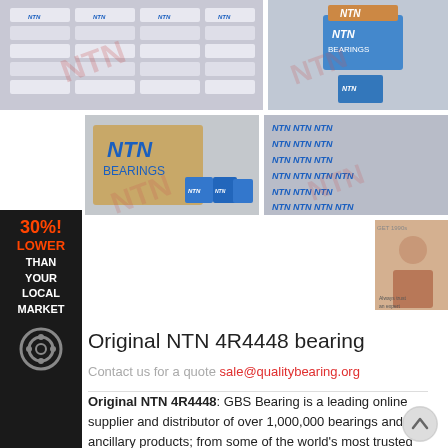[Figure (photo): Top-left: Stack of NTN bearing boxes arranged in rows]
[Figure (photo): Top-right: NTN Bearings box with bearing visible]
[Figure (photo): Bottom-left: Large NTN Bearings cardboard box with small NTN bearing boxes in front]
[Figure (photo): Bottom-middle: Grid of NTN bearing packages arranged in rows]
[Figure (photo): Small thumbnail: person/advertisement image]
30%! LOWER THAN YOUR LOCAL MARKET
Original NTN 4R4448 bearing
Contact us for a quote sale@qualitybearing.org
Original NTN 4R4448: GBS Bearing is a leading online supplier and distributor of over 1,000,000 bearings and ancillary products; from some of the world's most trusted brands including SKF, FAG, NTN, NSK, Timken, INA, IKO, also NTN 4R4448 bearings from other top manufacturers